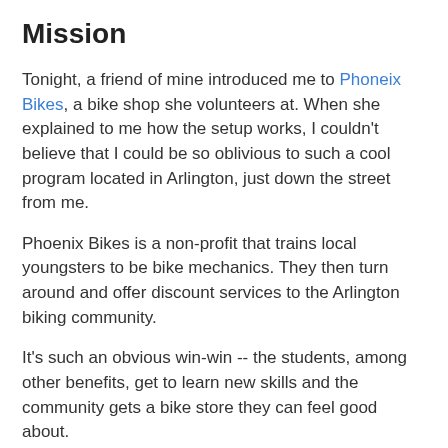Mission
Tonight, a friend of mine introduced me to Phoneix Bikes, a bike shop she volunteers at. When she explained to me how the setup works, I couldn't believe that I could be so oblivious to such a cool program located in Arlington, just down the street from me.
Phoenix Bikes is a non-profit that trains local youngsters to be bike mechanics. They then turn around and offer discount services to the Arlington biking community.
It's such an obvious win-win -- the students, among other benefits, get to learn new skills and the community gets a bike store they can feel good about.
Here, watch CNN's coverage of the program for a more complete explanation: